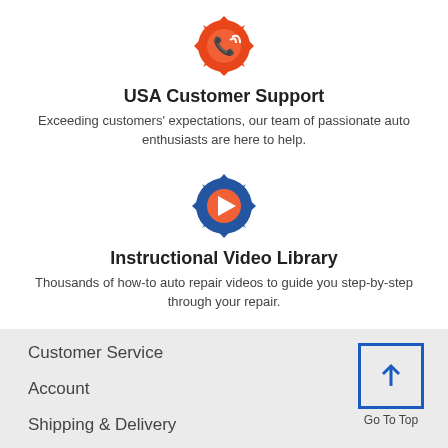[Figure (illustration): Orange gear icon with a phone/signal symbol inside, representing USA Customer Support]
USA Customer Support
Exceeding customers' expectations, our team of passionate auto enthusiasts are here to help.
[Figure (illustration): Blue gear icon with an orange circle and white play button inside, representing Instructional Video Library]
Instructional Video Library
Thousands of how-to auto repair videos to guide you step-by-step through your repair.
Customer Service
Account
Shipping & Delivery
Order Tracking